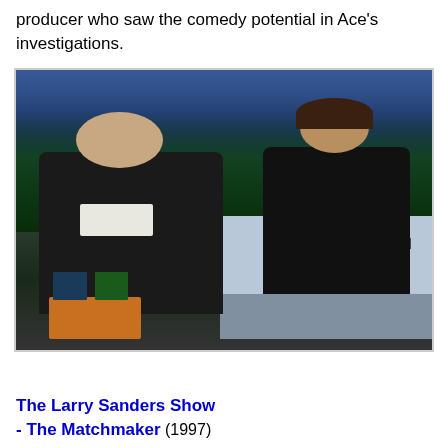producer who saw the comedy potential in Ace's investigations.
[Figure (photo): A talk show set scene showing two men in dark suits. An older man with white/grey hair sits in a guest chair on the left, while a younger man with dark hair sits behind a desk on the right (identified by nameplate as Larry Sanders). There are large tropical plants in the background, a city skyline backdrop, and a small side table with mugs near the guest. The setting appears to be The Larry Sanders Show.]
The Larry Sanders Show - The Matchmaker (1997)